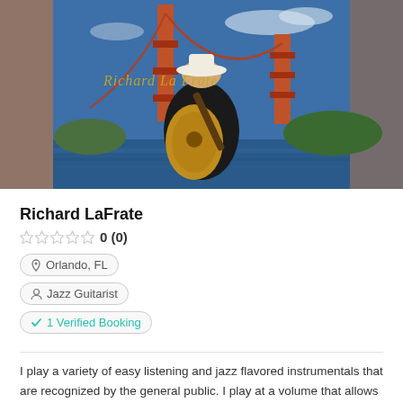[Figure (photo): Man playing archtop guitar in front of the Golden Gate Bridge, wearing a white hat and sunglasses. Text 'Richard La Frate' written in gold script on the image.]
Richard LaFrate
0 (0)
Orlando, FL
Jazz Guitarist
1 Verified Booking
I play a variety of easy listening and jazz flavored instrumentals that are recognized by the general public. I play at a volume that allows normal conversation.